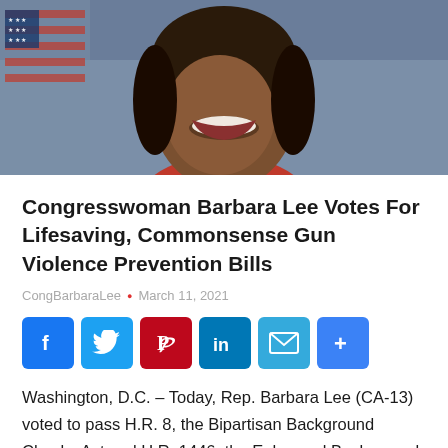[Figure (photo): Portrait photo of Congresswoman Barbara Lee smiling, with an American flag visible in the background. Close-up crop showing face and shoulders.]
Congresswoman Barbara Lee Votes For Lifesaving, Commonsense Gun Violence Prevention Bills
CongBarbaraLee • March 11, 2021
[Figure (infographic): Social media share buttons: Facebook, Twitter, Pinterest, LinkedIn, Email, Share+]
Washington, D.C. – Today, Rep. Barbara Lee (CA-13) voted to pass H.R. 8, the Bipartisan Background Checks Act and H.R. 1446, the Enhanced Background Checks Act – two